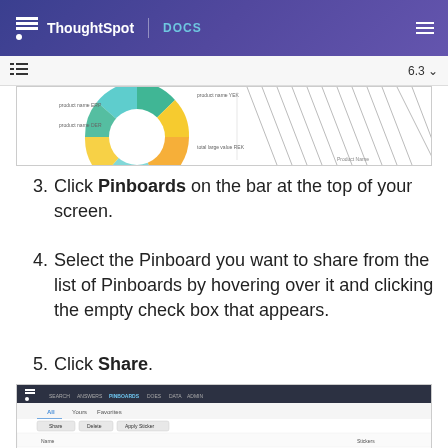ThoughtSpot | DOCS
[Figure (screenshot): Partial donut/ring chart screenshot showing colorful chart segments and a hatched pattern area]
3. Click Pinboards on the bar at the top of your screen.
4. Select the Pinboard you want to share from the list of Pinboards by hovering over it and clicking the empty check box that appears.
5. Click Share.
[Figure (screenshot): ThoughtSpot Pinboards navigation screen showing All, Yours, Favorites tabs with Share, Delete, Apply Sticker buttons and Name/Stickers columns]